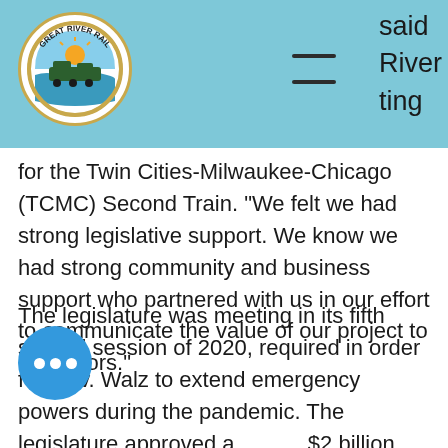[Figure (logo): Great River Rail circular logo with train/sun imagery, gold border on white background, set against teal/light blue header bar]
said River ting for the Twin Cities-Milwaukee-Chicago (TCMC) Second Train. “We felt we had strong legislative support. We know we had strong community and business support who partnered with us in our effort to communicate the value of our project to legislators.”
The legislature was meeting in its fifth special session of 2020, required in order for Gov. Walz to extend emergency powers during the pandemic. The legislature approved a $2 billion bonding bill which has been sent to the governor for his signature.